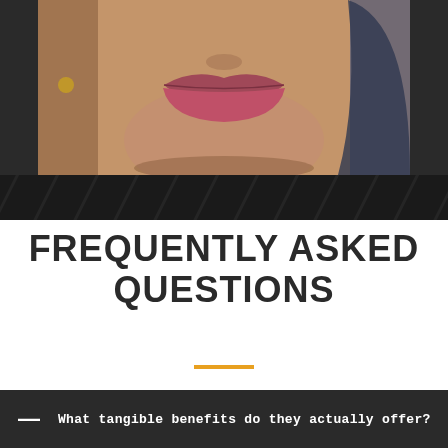[Figure (photo): Close-up photograph of a person's lower face showing lips, chin and partial view of face with dark background and diagonal stripe pattern]
FREQUENTLY ASKED QUESTIONS
— What tangible benefits do they actually offer?